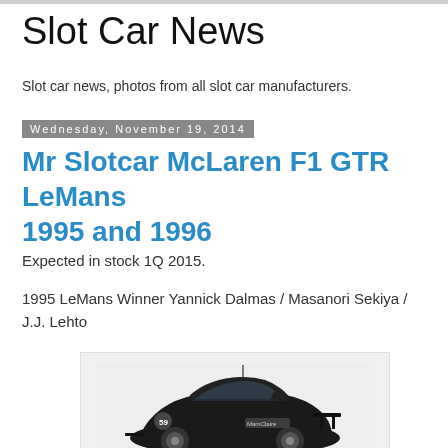Slot Car News
Slot car news, photos from all slot car manufacturers.
Wednesday, November 19, 2014
Mr Slotcar McLaren F1 GTR LeMans 1995 and 1996
Expected in stock 1Q 2015.
1995 LeMans Winner Yannick Dalmas / Masanori Sekiya / J.J. Lehto
[Figure (photo): Black McLaren F1 GTR slot car model, low angle side view showing race livery with sponsors including MarnClaire]